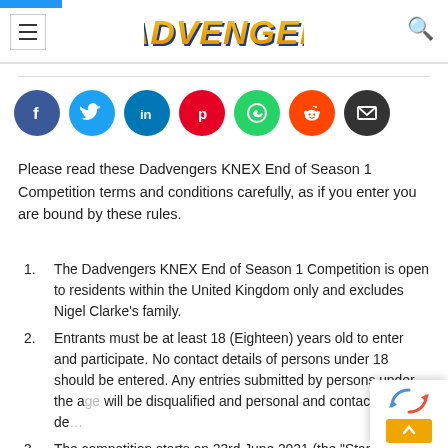Dadvengers logo and navigation header
[Figure (logo): Dadvengers logo in yellow/gold italic bold text with navigation hamburger menu and search icon]
Please read these Dadvengers KNEX End of Season 1 Competition terms and conditions carefully, as if you enter you are bound by these rules.
The Dadvengers KNEX End of Season 1 Competition is open to residents within the United Kingdom only and excludes Nigel Clarke's family.
Entrants must be at least 18 (Eighteen) years old to enter and participate. No contact details of persons under 18 should be entered. Any entries submitted by persons under the age will be disqualified and personal and contact details de...
The competition starts on 23rd June 2021 (the "Start Da...